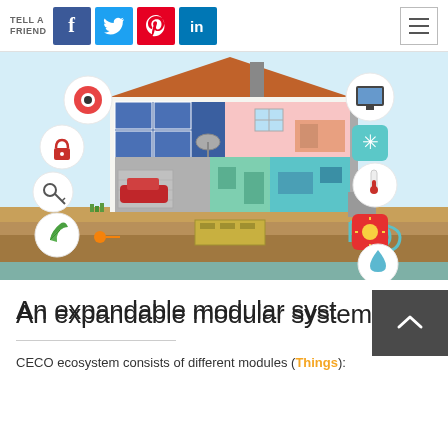TELL A FRIEND [Facebook] [Twitter] [Pinterest] [LinkedIn] [Menu]
[Figure (illustration): Smart home ecosystem infographic showing a cross-section of a house with solar panels, rooms including bedroom, kitchen, garage with red car, and underground geothermal system. Surrounding icons represent smart home features: security camera, lock, key, eco/green, TV screen, snowflake/cooling, thermometer, sun/heating, water drop.]
An expandable modular system
CECO ecosystem consists of different modules (Things):